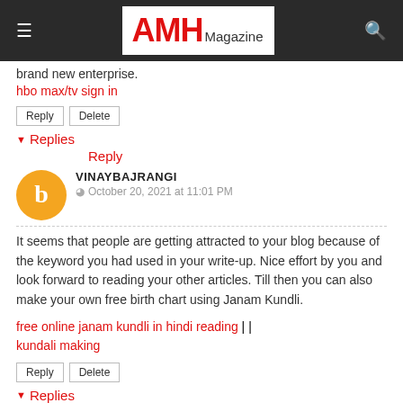AMH Magazine
brand new enterprise.
hbo max/tv sign in
Reply | Delete
▼ Replies
Reply
VINAYBAJRANGI
October 20, 2021 at 11:01 PM
It seems that people are getting attracted to your blog because of the keyword you had used in your write-up. Nice effort by you and look forward to reading your other articles. Till then you can also make your own free birth chart using Janam Kundli.
free online janam kundli in hindi reading || kundali making
Reply | Delete
▼ Replies
Reply